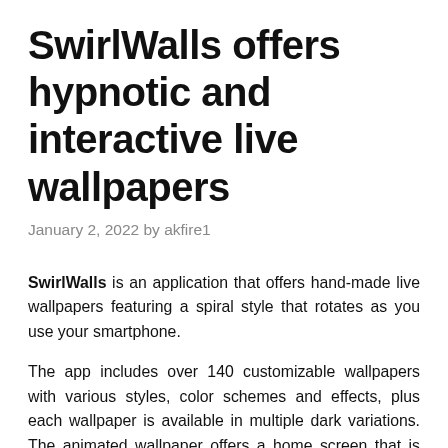SwirlWalls offers hypnotic and interactive live wallpapers
January 2, 2022 by akfire1
SwirlWalls is an application that offers hand-made live wallpapers featuring a spiral style that rotates as you use your smartphone.
The app includes over 140 customizable wallpapers with various styles, color schemes and effects, plus each wallpaper is available in multiple dark variations. The animated wallpaper offers a home screen that is always